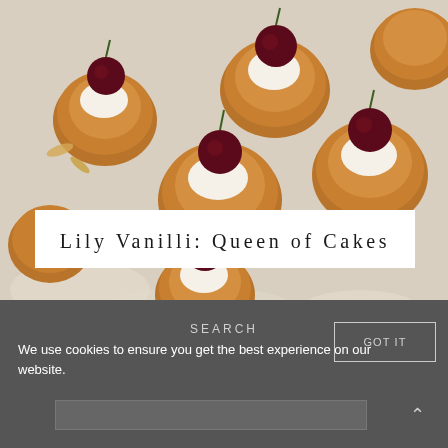[Figure (photo): Overhead photo of mini tarts topped with cream and dark cherries on a light background, scattered almond flakes visible]
Lily Vanilli: Queen of Cakes
SEARCH
We use cookies to ensure you get the best experience on our website.
GOT IT